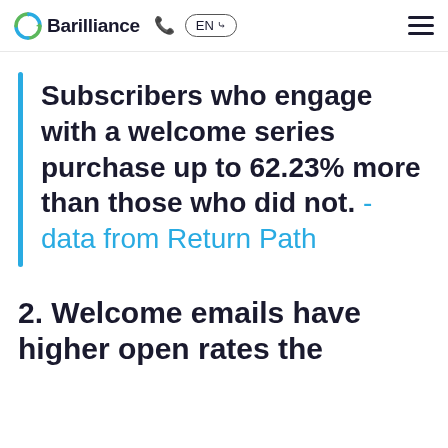Barilliance  EN  ☰
Subscribers who engage with a welcome series purchase up to 62.23% more than those who did not. - data from Return Path
2. Welcome emails have higher open rates the